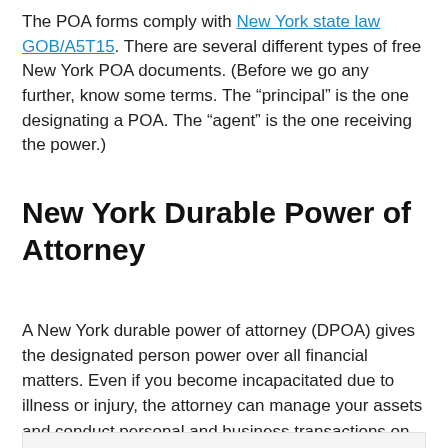The POA forms comply with New York state law GOB/A5T15. There are several different types of free New York POA documents. (Before we go any further, know some terms. The “principal” is the one designating a POA. The “agent” is the one receiving the power.)
New York Durable Power of Attorney
A New York durable power of attorney (DPOA) gives the designated person power over all financial matters. Even if you become incapacitated due to illness or injury, the attorney can manage your assets and conduct personal and business transactions on your behalf.